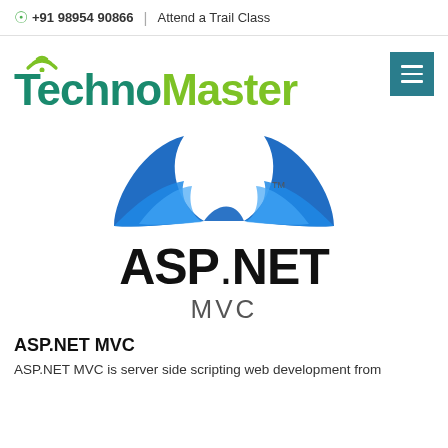⊙ +91 98954 90866 | Attend a Trail Class
[Figure (logo): TechnoMaster logo with wifi symbol above, 'Techno' in teal and 'Master' in green, large bold font]
[Figure (logo): ASP.NET MVC logo with blue ribbon/wing graphic mark, 'ASP.NET' in large bold black text and 'MVC' below in gray]
ASP.NET MVC
ASP.NET MVC is server side scripting web development from